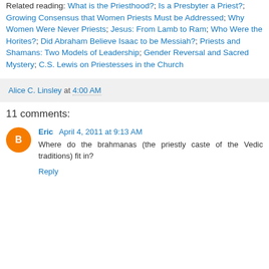Related reading: What is the Priesthood?; Is a Presbyter a Priest?; Growing Consensus that Women Priests Must be Addressed; Why Women Were Never Priests; Jesus: From Lamb to Ram; Who Were the Horites?; Did Abraham Believe Isaac to be Messiah?; Priests and Shamans: Two Models of Leadership; Gender Reversal and Sacred Mystery; C.S. Lewis on Priestesses in the Church
Alice C. Linsley at 4:00 AM
11 comments:
Eric  April 4, 2011 at 9:13 AM
Where do the brahmanas (the priestly caste of the Vedic traditions) fit in?
Reply